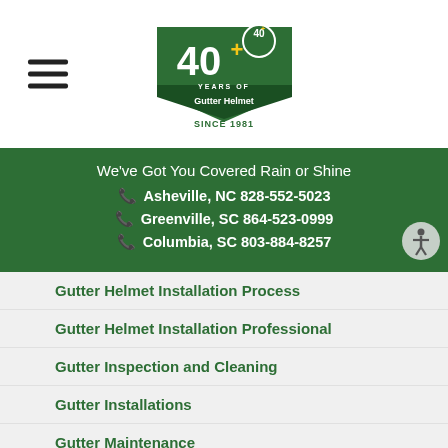[Figure (logo): Gutter Helmet 40+ Years logo with green shield, text '40+ YEARS OF Gutter Helmet SINCE 1981']
We've Got You Covered Rain or Shine
Asheville, NC 828-552-5023
Greenville, SC 864-523-0999
Columbia, SC 803-884-8257
Gutter Helmet Installation Process
Gutter Helmet Installation Professional
Gutter Inspection and Cleaning
Gutter Installations
Gutter Maintenance
Gutter Pitching
Gutter Problems
Gutter Product Industry
Gutter Protection
Gutter System